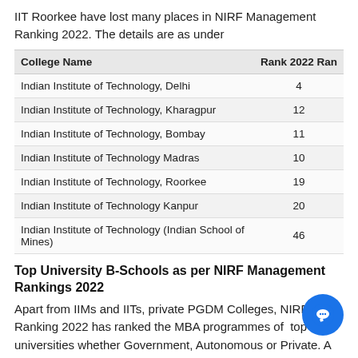IIT Roorkee have lost many places in NIRF Management Ranking 2022. The details are as under
| College Name | Rank 2022 | Ran... |
| --- | --- | --- |
| Indian Institute of Technology, Delhi | 4 |  |
| Indian Institute of Technology, Kharagpur | 12 |  |
| Indian Institute of Technology, Bombay | 11 |  |
| Indian Institute of Technology Madras | 10 |  |
| Indian Institute of Technology, Roorkee | 19 |  |
| Indian Institute of Technology Kanpur | 20 |  |
| Indian Institute of Technology (Indian School of Mines) | 46 |  |
Top University B-Schools as per NIRF Management Rankings 2022
Apart from IIMs and IITs, private PGDM Colleges, NIRF Ranking 2022 has ranked the MBA programmes of top universities whether Government, Autonomous or Private. A list of such top universities is shared below with their ranking position.